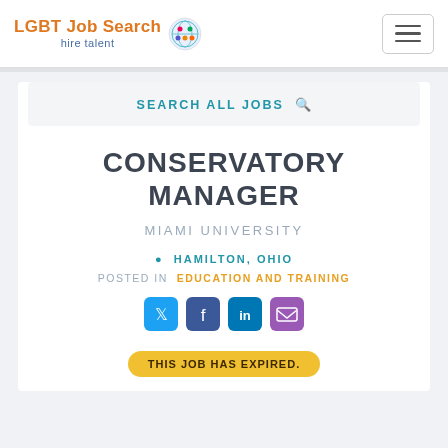LGBT Job Search hire talent
SEARCH ALL JOBS
CONSERVATORY MANAGER
MIAMI UNIVERSITY
HAMILTON, OHIO
POSTED IN EDUCATION AND TRAINING
[Figure (other): Social share icons: Twitter, Facebook, LinkedIn, Email]
THIS JOB HAS EXPIRED.